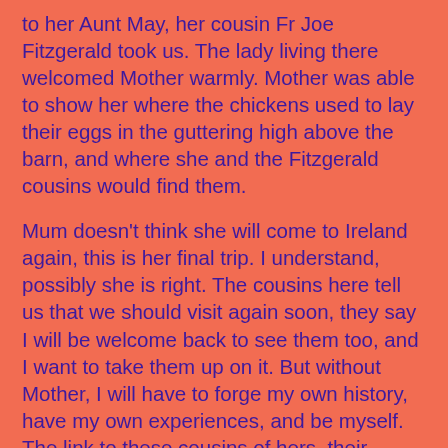to her Aunt May, her cousin Fr Joe Fitzgerald took us.  The lady living there welcomed Mother warmly.  Mother was able to show her where the chickens used to lay their eggs in the guttering high above the barn, and where she and the Fitzgerald cousins would find them.
Mum doesn't think she will come to Ireland again, this is her final trip.  I understand, possibly she is right.  The cousins here tell us that we should visit again soon, they say I will be welcome back to see them too, and I want to take them up on it.  But without Mother, I will have to forge my own history,  have my own experiences, and be myself.  The link to these cousins of hers, their families, and the farm they grew up in, and life here, this link is my mother. I have no real way back to the past and into this life, except in her company here.  This week, I have watched and listened as she met again and introduced me to these amazing people that I had been aware of for ever.  I have been welcomed, absorbed and accepted into Mother's past, into their company, and I have fallen in love again with the characters and the people I loved to hear about as a child, this time falling in love with them in real life not just in the stories. It is so good to see my